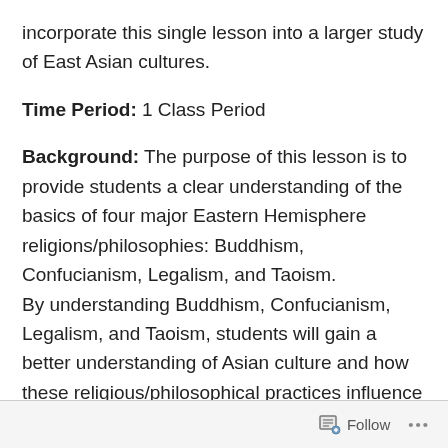incorporate this single lesson into a larger study of East Asian cultures.
Time Period: 1 Class Period
Background: The purpose of this lesson is to provide students a clear understanding of the basics of four major Eastern Hemisphere religions/philosophies: Buddhism, Confucianism, Legalism, and Taoism. By understanding Buddhism, Confucianism, Legalism, and Taoism, students will gain a better understanding of Asian culture and how these religious/philosophical practices influence both the ancient and modern world. To accomplish the ultimate goal of connecting the Eastern Hemisphere content to the modern world, this lesson will
Follow ...